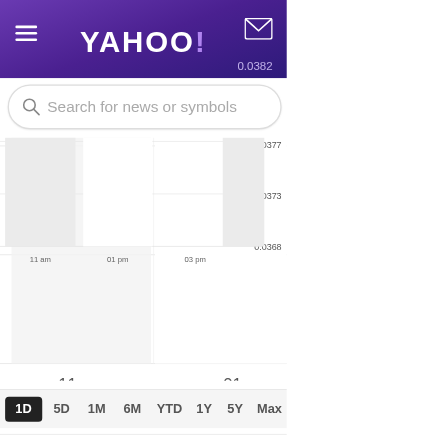YAHOO!
[Figure (screenshot): Search bar with magnifying glass icon and placeholder 'Search for news or symbols']
[Figure (continuous-plot): Intraday stock price chart showing price range approximately 0.0368 to 0.0377, with x-axis labels 11 am, 01 pm, 03 pm and y-axis labels 0.0377, 0.0373, 0.0368. Chart area appears mostly flat/light gray.]
[Figure (screenshot): Time period selector bar with buttons: 1D (active/selected, dark background), 5D, 1M, 6M, YTD, 1Y, 5Y, Max]
|  |  |
| --- | --- |
| Previous close | 0.0380 |
| Open | 0.0370 |
| Bid | 0.0340 x 1600000 |
| Ask | 0.0390 x 5500000 |